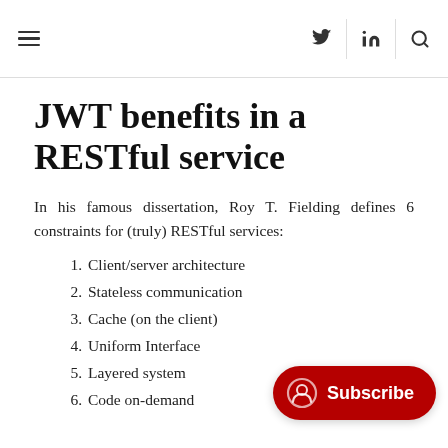≡  (twitter) (linkedin) (search)
JWT benefits in a RESTful service
In his famous dissertation, Roy T. Fielding defines 6 constraints for (truly) RESTful services:
1. Client/server architecture
2. Stateless communication
3. Cache (on the client)
4. Uniform Interface
5. Layered system
6. Code on-demand